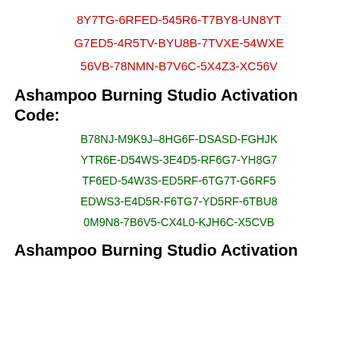8Y7TG-6RFED-545R6-T7BY8-UN8YT
G7ED5-4R5TV-BYU8B-7TVXE-54WXE
56VB-78NMN-B7V6C-5X4Z3-XC56V
Ashampoo Burning Studio Activation Code:
B78NJ-M9K9J–8HG6F-DSASD-FGHJK
YTR6E-D54WS-3E4D5-RF6G7-YH8G7
TF6ED-54W3S-ED5RF-6TG7T-G6RF5
EDWS3-E4D5R-F6TG7-YD5RF-6TBU8
0M9N8-7B6V5-CX4L0-KJH6C-X5CVB
Ashampoo Burning Studio Activation